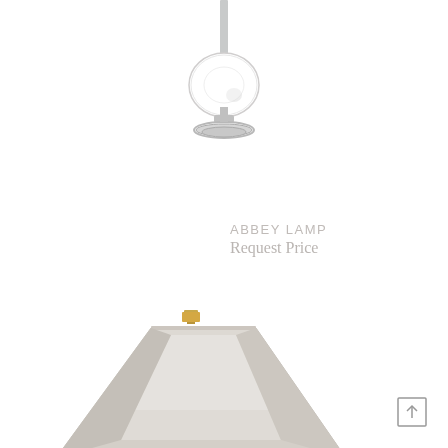[Figure (photo): Close-up top portion of a table lamp showing a crystal/glass globe finial on a chrome stem with a circular chrome base fitting, photographed against white background]
ABBEY LAMP
Request Price
[Figure (photo): Bottom portion of a table lamp showing a tapered rectangular lamp shade in beige/ivory fabric with a small gold decorative finial on top of the shade frame, photographed against white background]
[Figure (other): Share/upload icon - rectangle with upward arrow]